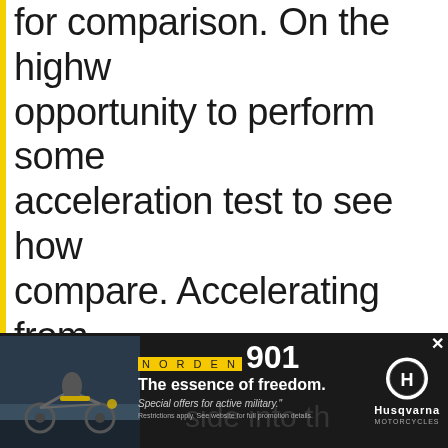for comparison. On the highw opportunity to perform some acceleration test to see how compare. Accelerating from it became clear right away th a significant power advantag always felt stable at high spe during a high wind advisory
[Figure (advertisement): Husqvarna Norden 901 motorcycle advertisement banner. Shows motorcycle and rider on left, 'Norden 901 - The essence of freedom. Special offers for active military.' text in center, Husqvarna logo on right. Dark background.]